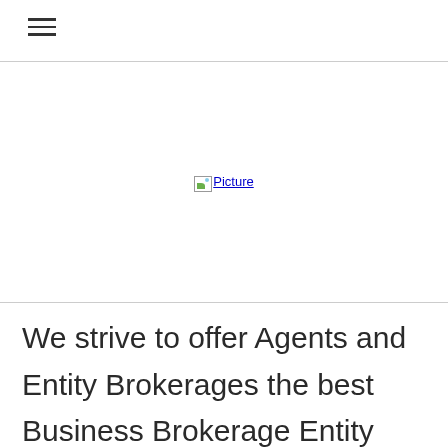≡
[Figure (logo): Broken/placeholder image labeled 'Picture' with small landscape icon]
We strive to offer Agents and Entity Brokerages the best Business Brokerage Entity sponsorship in Texas today! Please take minute to read what